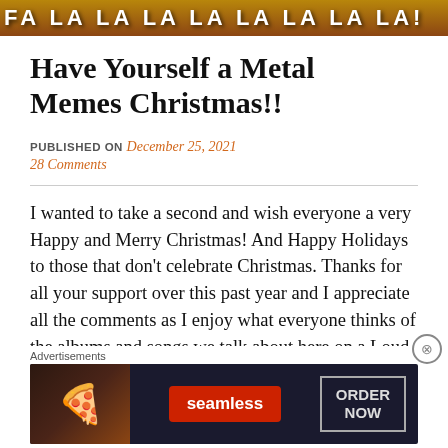[Figure (illustration): Banner image with repeating text 'FA LA LA LA LA LA LA LA LA!' in large bold white letters on a dark golden/brown background with festive imagery]
Have Yourself a Metal Memes Christmas!!
PUBLISHED ON December 25, 2021
28 Comments
I wanted to take a second and wish everyone a very Happy and Merry Christmas! And Happy Holidays to those that don't celebrate Christmas. Thanks for all your support over this past year and I appreciate all the comments as I enjoy what everyone thinks of the albums and songs we talk about here on a Loud a Old
[Figure (advertisement): Seamless food delivery advertisement featuring pizza image on dark background with Seamless logo in red pill and ORDER NOW button in bordered box]